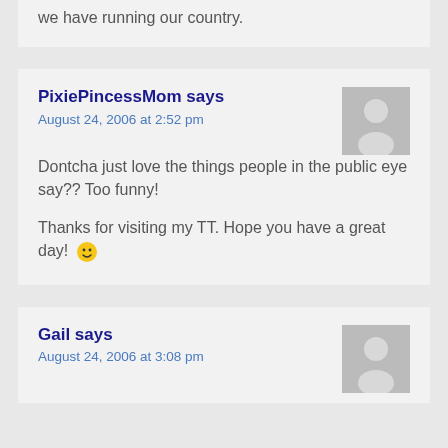we have running our country.
PixiePincessMom says
August 24, 2006 at 2:52 pm
Dontcha just love the things people in the public eye say?? Too funny!

Thanks for visiting my TT. Hope you have a great day! 🙂
Gail says
August 24, 2006 at 3:08 pm